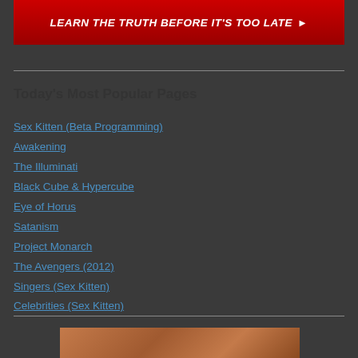[Figure (other): Red banner with bold white italic text reading LEARN THE TRUTH BEFORE IT'S TOO LATE with arrow]
Today's Most Popular Pages
Sex Kitten (Beta Programming)
Awakening
The Illuminati
Black Cube & Hypercube
Eye of Horus
Satanism
Project Monarch
The Avengers (2012)
Singers (Sex Kitten)
Celebrities (Sex Kitten)
[Figure (photo): Partial view of an image with orange/brown tones at bottom of page]